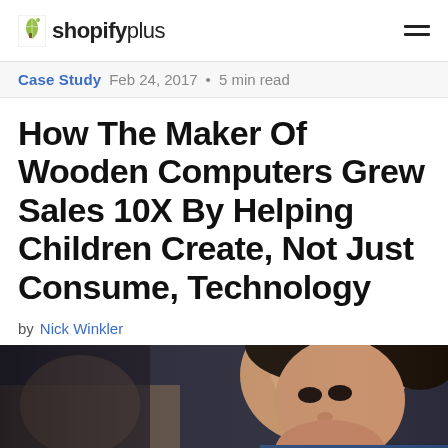Shopify Plus
Case Study  Feb 24, 2017 • 5 min read
How The Maker Of Wooden Computers Grew Sales 10X By Helping Children Create, Not Just Consume, Technology
by Nick Winkler
[Figure (photo): Close-up photo of a child's face, partially visible, dark background]